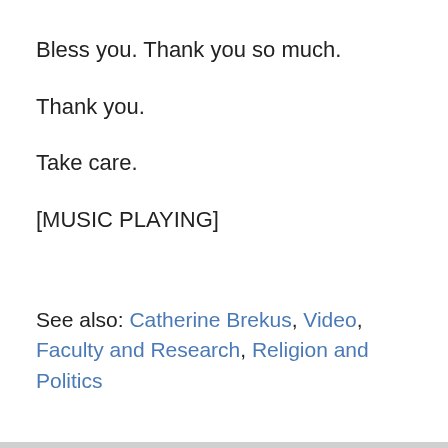Bless you. Thank you so much.
Thank you.
Take care.
[MUSIC PLAYING]
See also: Catherine Brekus, Video, Faculty and Research, Religion and Politics